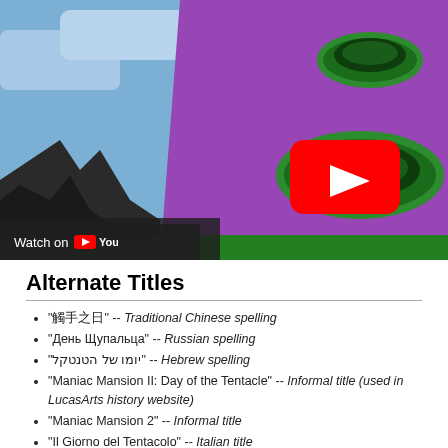[Figure (screenshot): YouTube video thumbnail showing a cartoon purple tentacle creature with green rings/craters against a blue sky background. A red YouTube play button icon is visible in the center. Bottom-left shows a 'Watch on YouTube' overlay bar.]
Alternate Titles
"觸手之日" -- Traditional Chinese spelling
"День Щупальца" -- Russian spelling
"יומו של הטנטקל" -- Hebrew spelling
"Maniac Mansion II: Day of the Tentacle" -- Informal title (used in LucasArts history website)
"Maniac Mansion 2" -- Informal title
"Il Giorno del Tentacolo" -- Italian title